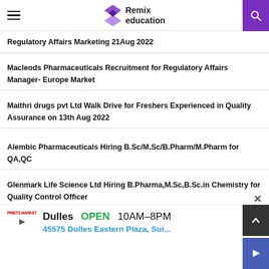Remix education
Regulatory Affairs Marketing 21Aug 2022
Macleods Pharmaceuticals Recruitment for Regulatory Affairs Manager- Europe Market
Maithri drugs pvt Ltd Walk Drive for Freshers Experienced in Quality Assurance on 13th Aug 2022
Alembic Pharmaceuticals Hiring B.Sc/M.Sc/B.Pharm/M.Pharm for QA,QC
Glenmark Life Science Ltd Hiring B.Pharma,M.Sc,B.Sc.in Chemistry for Quality Control Officer
[Figure (screenshot): Advertisement banner: Dulles OPEN 10AM-8PM, 45575 Dulles Eastern Plaza, Sui...]